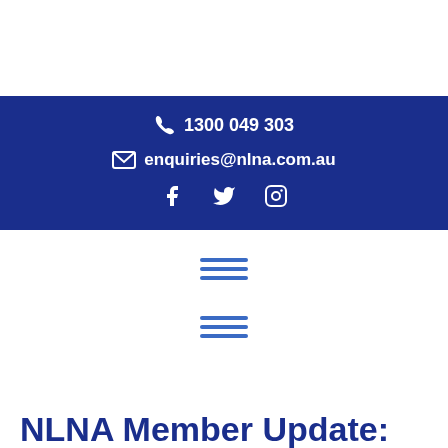[Figure (infographic): Dark blue banner with phone number 1300 049 303, email enquiries@nlna.com.au, and social media icons for Facebook, Twitter, and Instagram]
[Figure (other): Two hamburger menu icons (three horizontal blue lines each) on white background]
NLNA Member Update: